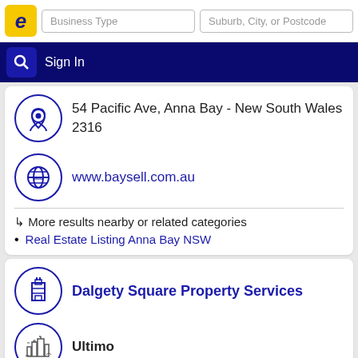Business Type | Suburb, City, or Postcode | Sign In
54 Pacific Ave, Anna Bay - New South Wales 2316
www.baysell.com.au
↳ More results nearby or related categories
Real Estate Listing Anna Bay NSW
Dalgety Square Property Services
Ultimo
Call 02 92801617